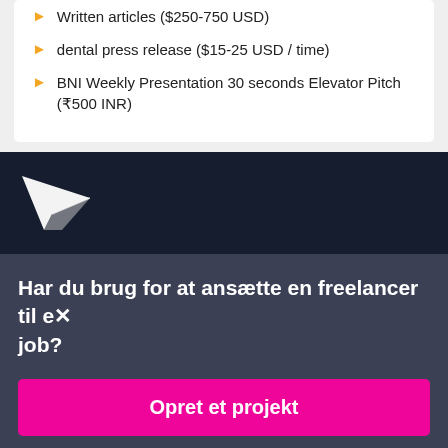Written articles ($250-750 USD)
dental press release ($15-25 USD / time)
BNI Weekly Presentation 30 seconds Elevator Pitch (₹500 INR)
[Figure (logo): Freelancer.com white paper plane logo on dark navy background]
Har du brug for at ansætte en freelancer til et job?
Opret et projekt